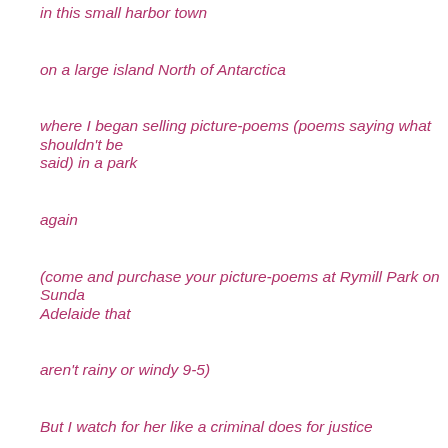in this small harbor town
on a large island North of Antarctica
where I began selling picture-poems (poems saying what shouldn't be said) in a park
again
(come and purchase your picture-poems at Rymill Park on Sundays in Adelaide that
aren't rainy or windy 9-5)
But I watch for her like a criminal does for justice
knowing someday it will all make sense
and I will be like everyone else